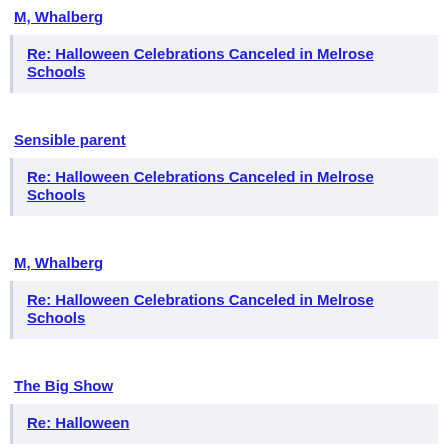M, Whalberg
Re: Halloween Celebrations Canceled in Melrose Schools
Sensible parent
Re: Halloween Celebrations Canceled in Melrose Schools
M, Whalberg
Re: Halloween Celebrations Canceled in Melrose Schools
The Big Show
Re: Halloween